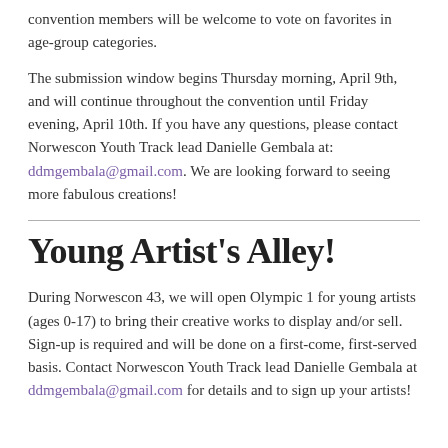convention members will be welcome to vote on favorites in age-group categories.
The submission window begins Thursday morning, April 9th, and will continue throughout the convention until Friday evening, April 10th. If you have any questions, please contact Norwescon Youth Track lead Danielle Gembala at: ddmgembala@gmail.com. We are looking forward to seeing more fabulous creations!
Young Artist's Alley!
During Norwescon 43, we will open Olympic 1 for young artists (ages 0-17) to bring their creative works to display and/or sell. Sign-up is required and will be done on a first-come, first-served basis. Contact Norwescon Youth Track lead Danielle Gembala at ddmgembala@gmail.com for details and to sign up your artists!